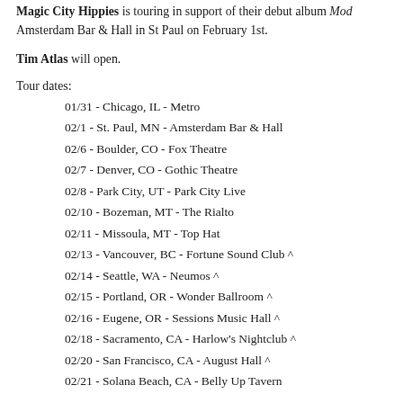Magic City Hippies is touring in support of their debut album Mod Amsterdam Bar & Hall in St Paul on February 1st.
Tim Atlas will open.
Tour dates:
01/31 - Chicago, IL - Metro
02/1 - St. Paul, MN - Amsterdam Bar & Hall
02/6 - Boulder, CO - Fox Theatre
02/7 - Denver, CO - Gothic Theatre
02/8 - Park City, UT - Park City Live
02/10 - Bozeman, MT - The Rialto
02/11 - Missoula, MT - Top Hat
02/13 - Vancouver, BC - Fortune Sound Club ^
02/14 - Seattle, WA - Neumos ^
02/15 - Portland, OR - Wonder Ballroom ^
02/16 - Eugene, OR - Sessions Music Hall ^
02/18 - Sacramento, CA - Harlow's Nightclub ^
02/20 - San Francisco, CA - August Hall ^
02/21 - Solana Beach, CA - Belly Up Tavern